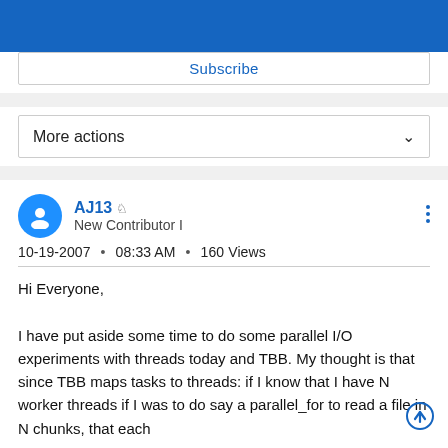Subscribe
More actions
AJ13
New Contributor I
10-19-2007 • 08:33 AM • 160 Views
Hi Everyone,

I have put aside some time to do some parallel I/O experiments with threads today and TBB. My thought is that since TBB maps tasks to threads: if I know that I have N worker threads if I was to do say a parallel_for to read a file in N chunks, that each